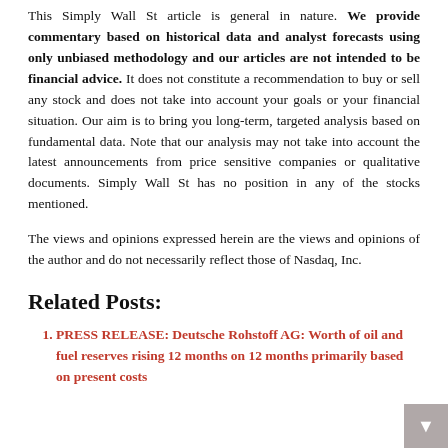This Simply Wall St article is general in nature. We provide commentary based on historical data and analyst forecasts using only unbiased methodology and our articles are not intended to be financial advice. It does not constitute a recommendation to buy or sell any stock and does not take into account your goals or your financial situation. Our aim is to bring you long-term, targeted analysis based on fundamental data. Note that our analysis may not take into account the latest announcements from price sensitive companies or qualitative documents. Simply Wall St has no position in any of the stocks mentioned.
The views and opinions expressed herein are the views and opinions of the author and do not necessarily reflect those of Nasdaq, Inc.
Related Posts:
PRESS RELEASE: Deutsche Rohstoff AG: Worth of oil and fuel reserves rising 12 months on 12 months primarily based on present costs